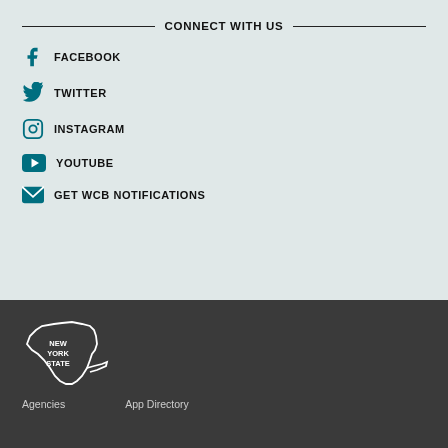CONNECT WITH US
FACEBOOK
TWITTER
INSTAGRAM
YOUTUBE
GET WCB NOTIFICATIONS
[Figure (logo): New York State outline logo with text NEW YORK STATE in white on dark background]
Agencies   App Directory